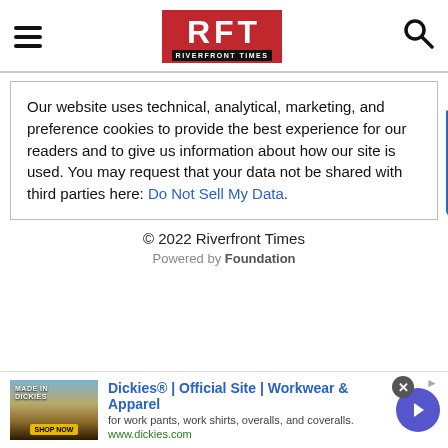RFT RIVERFRONT TIMES
Our website uses technical, analytical, marketing, and preference cookies to provide the best experience for our readers and to give us information about how our site is used. You may request that your data not be shared with third parties here: Do Not Sell My Data.
© 2022 Riverfront Times
Powered by Foundation
[Figure (screenshot): Advertisement banner: Dickies® | Official Site | Workwear & Apparel, for work pants, work shirts, overalls, and coveralls. www.dickies.com]